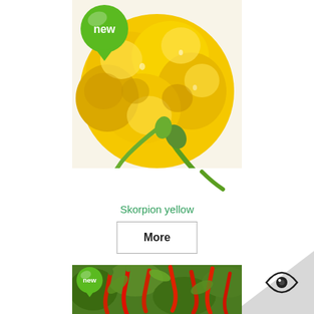[Figure (photo): Close-up photo of yellow Skorpion peppers with green stems on white background, with a green 'new' badge in the top-left corner]
Skorpion yellow
More
[Figure (illustration): Decorative grey triangle in bottom-right corner with an eye icon]
[Figure (photo): Photo of red chili peppers on a plant with green leaves, with a green 'new' badge in the top-left corner]